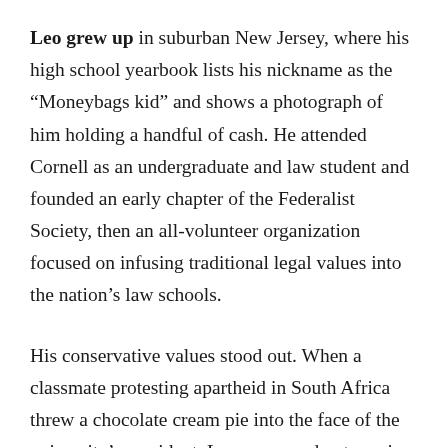Leo grew up in suburban New Jersey, where his high school yearbook lists his nickname as the “Moneybags kid” and shows a photograph of him holding a handful of cash. He attended Cornell as an undergraduate and law student and founded an early chapter of the Federalist Society, then an all-volunteer organization focused on infusing traditional legal values into the nation’s law schools.
His conservative values stood out. When a classmate protesting apartheid in South Africa threw a chocolate cream pie into the face of the university’s president, Leo expressed outrage in a letter to the student newspaper. “Although some will dismiss Tuesday as only a pie-throwing incident, it is representative of a more hostile